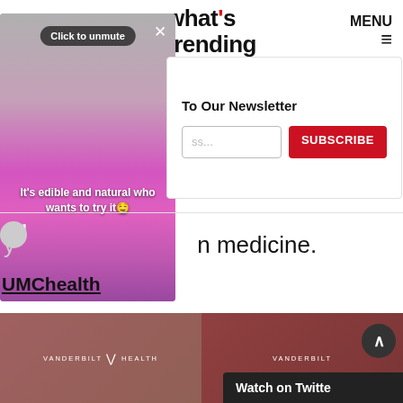what's trending
MENU
[Figure (screenshot): Video overlay showing pink liquid being poured through a funnel into a pink bottle. Text overlay reads 'Click to unmute' and 'It's edible and natural who wants to try it 🤤'. Pause button visible at bottom left. Close (X) button at top right.]
To Our Newsletter
ss...
SUBSCRIBE
n medicine.
UMChealth
[Figure (screenshot): Bottom strip showing two Vanderbilt Health logo tiles side by side on a dark reddish-brown background.]
Watch on Twitter